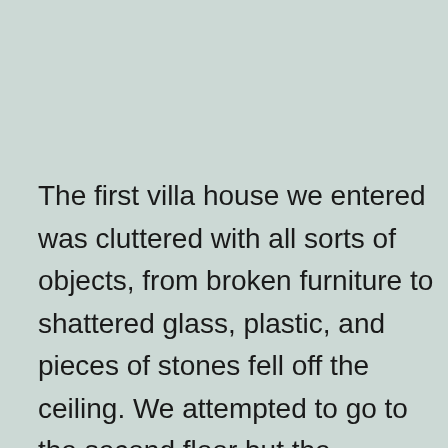The first villa house we entered was cluttered with all sorts of objects, from broken furniture to shattered glass, plastic, and pieces of stones fell off the ceiling. We attempted to go to the second floor but the structure was too damaged to guarantee safety, so we came out into the courtyard and looked at the other villas. We spotted one that seemed in good conditions and approached it. A careful examination confirmed that both the first and the second floor were accessible, so we